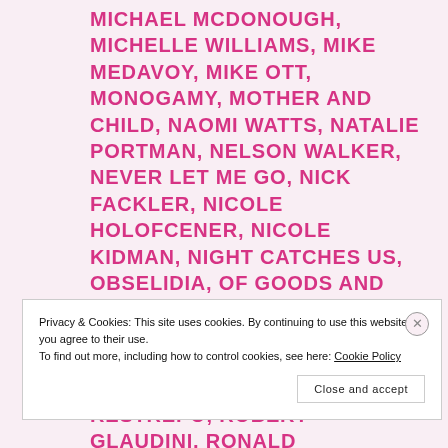MICHAEL MCDONOUGH, MICHELLE WILLIAMS, MIKE MEDAVOY, MIKE OTT, MONOGAMY, MOTHER AND CHILD, NAOMI WATTS, NATALIE PORTMAN, NELSON WALKER, NEVER LET ME GO, NICK FACKLER, NICOLE HOLOFCENER, NICOLE KIDMAN, NIGHT CATCHES US, OBSELIDIA, OF GOODS AND MEN, OLIVER PLATT, PHILIPPE HELLMAN, PLEASE GIVE, PREMIO JOHN CASSAVETES, RABBIT HOLE, REBECCA HALL, RESTREPO, ROBERT GLAUDINI, RONALD BRONSTEIN, RONALD SIMONS, SAMUEL L. JACKSON, SARAH STEELE, SCOTT FRANKLIN, SCOTT RUDIN, SEAN COSTELLO, SEBASTIAN JUNGER, SO-
Privacy & Cookies: This site uses cookies. By continuing to use this website, you agree to their use.
To find out more, including how to control cookies, see here: Cookie Policy
Close and accept